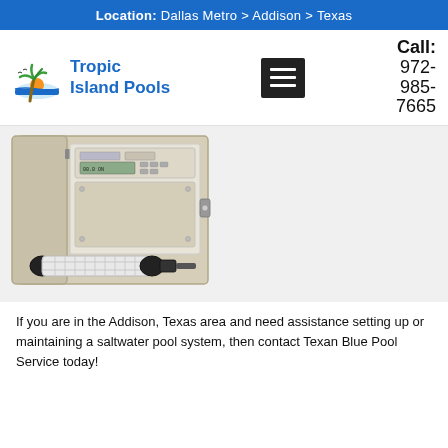Location: Dallas Metro > Addison > Texas
[Figure (logo): Tropic Island Pools logo with palm tree and sunset graphic]
Call: 972-985-7665
[Figure (photo): Pool salt water chlorinator control panel box open with a salt cell/electrode in front]
If you are in the Addison, Texas area and need assistance setting up or maintaining a saltwater pool system, then contact Texan Blue Pool Service today!